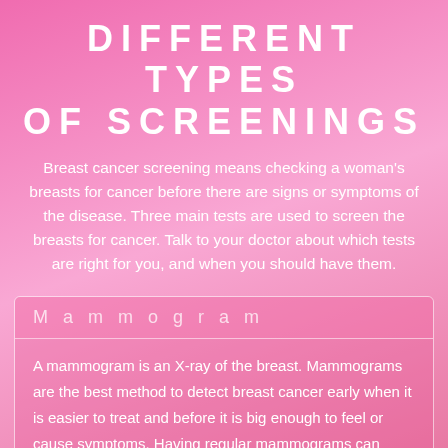DIFFERENT TYPES OF SCREENINGS
Breast cancer screening means checking a woman's breasts for cancer before there are signs or symptoms of the disease. Three main tests are used to screen the breasts for cancer. Talk to your doctor about which tests are right for you, and when you should have them.
Mammogram
A mammogram is an X-ray of the breast. Mammograms are the best method to detect breast cancer early when it is easier to treat and before it is big enough to feel or cause symptoms. Having regular mammograms can lower the risk of dying from breast cancer.¹ If you are age 40 years or older, be sure to have a screening mammogram every one to two years.